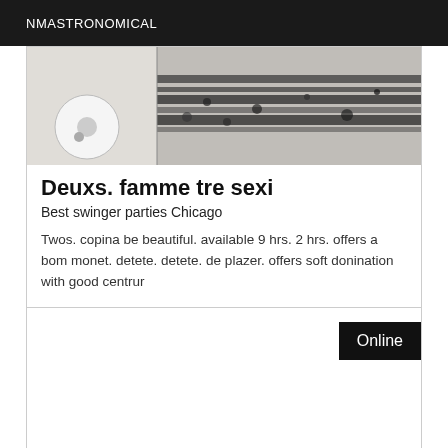NMASTRONOMICAL
[Figure (photo): Black and white photograph showing what appears to be a surface with dark spots and streaks, partially showing a circular object on the left side.]
Deuxs. famme tre sexi
Best swinger parties Chicago
Twos. copina be beautiful. available 9 hrs. 2 hrs. offers a bom monet. detete. detete. de plazer. offers soft donination with good centrur
Online